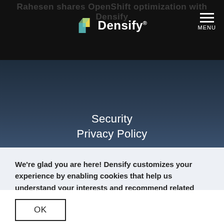Rahesen shares OpenShift optimization with Densify
[Figure (logo): Densify logo with colored diamond icon and white wordmark on black background]
Security
Privacy Policy
We're glad you are here! Densify customizes your experience by enabling cookies that help us understand your interests and recommend related information. By using our sites, you consent to our use of cookies. Learn more.
OK